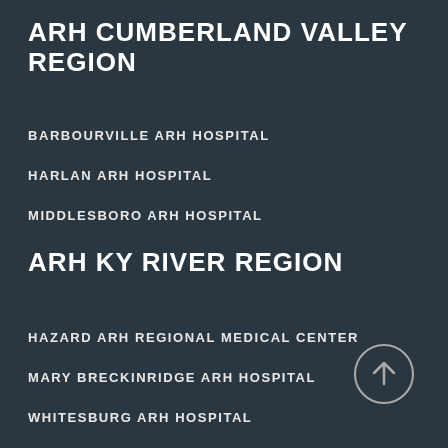ARH CUMBERLAND VALLEY REGION
BARBOURVILLE ARH HOSPITAL
HARLAN ARH HOSPITAL
MIDDLESBORO ARH HOSPITAL
ARH KY RIVER REGION
HAZARD ARH REGIONAL MEDICAL CENTER
MARY BRECKINRIDGE ARH HOSPITAL
WHITESBURG ARH HOSPITAL
[Figure (illustration): Circle with upward arrow icon (back to top button)]